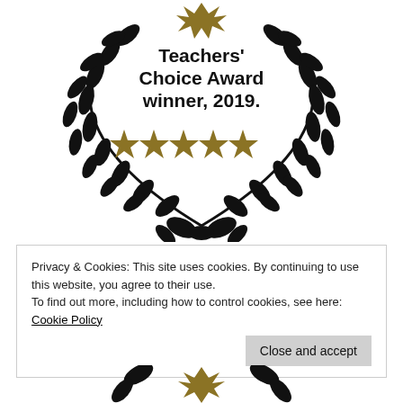[Figure (logo): Teachers' Choice Award winner, 2019. Laurel wreath emblem with five gold stars and bold text inside.]
Privacy & Cookies: This site uses cookies. By continuing to use this website, you agree to their use.
To find out more, including how to control cookies, see here: Cookie Policy
Close and accept
[Figure (logo): Partial laurel wreath and crown emblem at bottom of page (cropped).]